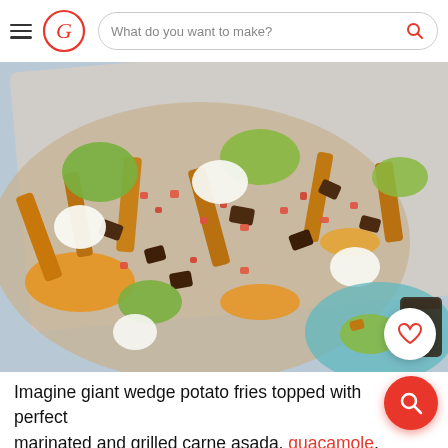What do you want to make?
[Figure (photo): Overhead shot of a sheet pan loaded with giant wedge potato fries topped with carne asada, guacamole, pico de gallo, sour cream/crema, and melted cheese. A blue plate with a serving and a drink are visible in the lower right corner.]
Imagine giant wedge potato fries topped with perfectly marinated and grilled carne asada, guacamole, pico de gallo, crema, and all the cheese you could possible imagine. It sounds like exactly what you want right this second, right? Doesn't matter if you're reading this at